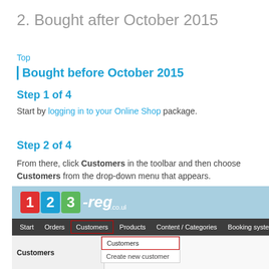2. Bought after October 2015
Top
Bought before October 2015
Step 1 of 4
Start by logging in to your Online Shop package.
Step 2 of 4
From there, click Customers in the toolbar and then choose Customers from the drop-down menu that appears.
[Figure (screenshot): Screenshot of 123-reg.co.uk Online Shop admin panel showing the toolbar with Customers highlighted in a red box, and a dropdown menu showing Customers (highlighted in red) and Create new customer options.]